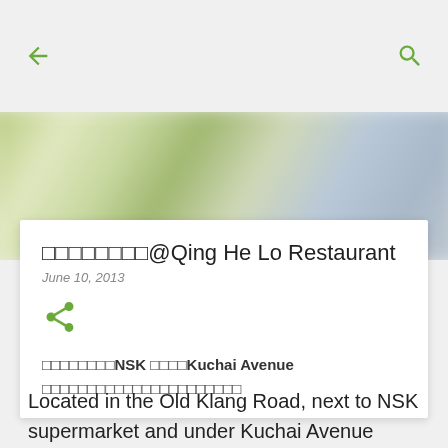← (back) | 🔍 (search)
[Figure (photo): Blurred hero image with green and blue tones, appears to be a restaurant interior]
□□□□□□□□@Qing He Lo Restaurant
June 10, 2013
[Figure (other): Share icon (green)]
□□□□□□□□NSK □□□□Kuchai Avenue □□□□□□□□□□□□□□□□□□□□
Located in the Old Klang Road, next to NSK supermarket and under Kuchai Avenue luxury